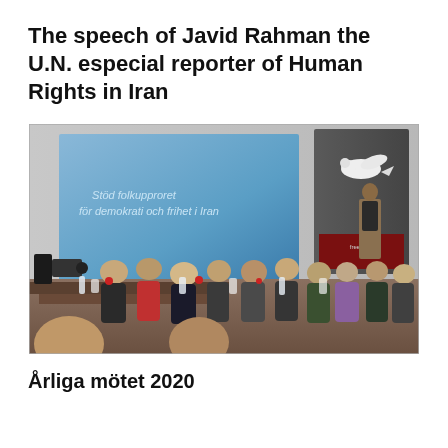The speech of Javid Rahman the U.N. especial reporter of Human Rights in Iran
[Figure (photo): An audience seated at tables in a conference hall listening to a speaker at a podium. In the background, a large projection screen displays 'Stöd folkupproret för demokrati och frihet i Iran'. A banner with a peace dove is visible on the right side of the stage.]
Årliga mötet 2020